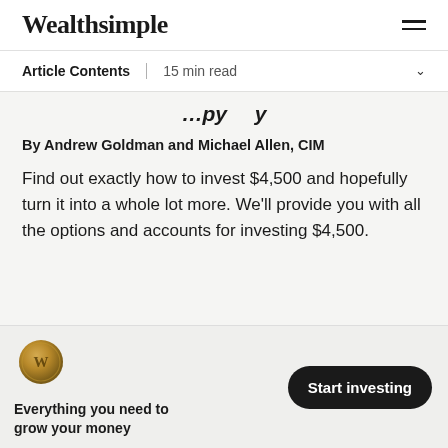Wealthsimple
Article Contents | 15 min read
(partial article title — italic cropped)
By Andrew Goldman and Michael Allen, CIM
Find out exactly how to invest $4,500 and hopefully turn it into a whole lot more. We'll provide you with all the options and accounts for investing $4,500.
[Figure (logo): Wealthsimple gold coin logo with W emblem]
Everything you need to grow your money
Start investing